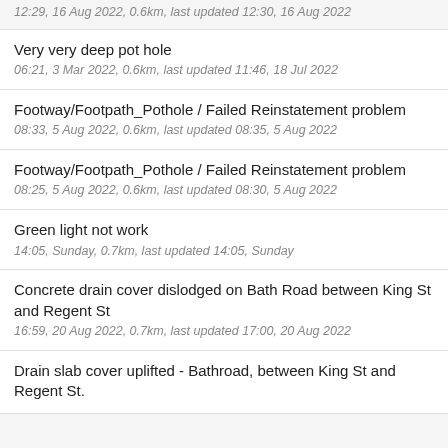12:29, 16 Aug 2022, 0.6km, last updated 12:30, 16 Aug 2022
Very very deep pot hole
06:21, 3 Mar 2022, 0.6km, last updated 11:46, 18 Jul 2022
Footway/Footpath_Pothole / Failed Reinstatement problem
08:33, 5 Aug 2022, 0.6km, last updated 08:35, 5 Aug 2022
Footway/Footpath_Pothole / Failed Reinstatement problem
08:25, 5 Aug 2022, 0.6km, last updated 08:30, 5 Aug 2022
Green light not work
14:05, Sunday, 0.7km, last updated 14:05, Sunday
Concrete drain cover dislodged on Bath Road between King St and Regent St
16:59, 20 Aug 2022, 0.7km, last updated 17:00, 20 Aug 2022
Drain slab cover uplifted - Bathroad, between King St and Regent St.